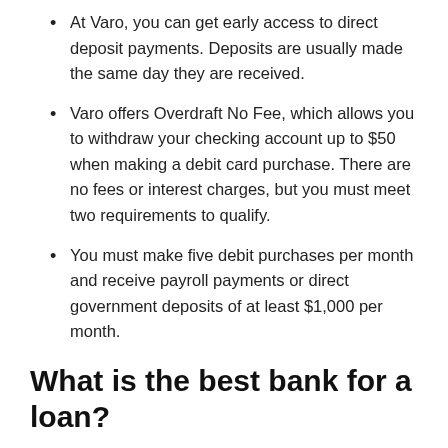At Varo, you can get early access to direct deposit payments. Deposits are usually made the same day they are received.
Varo offers Overdraft No Fee, which allows you to withdraw your checking account up to $50 when making a debit card purchase. There are no fees or interest charges, but you must meet two requirements to qualify.
You must make five debit purchases per month and receive payroll payments or direct government deposits of at least $1,000 per month.
What is the best bank for a loan?
[Figure (photo): Photo of a tablet displaying 'FINANCIAL FREEDOM' on screen, with a yellow flower and white coffee cup on a wooden table surface.]